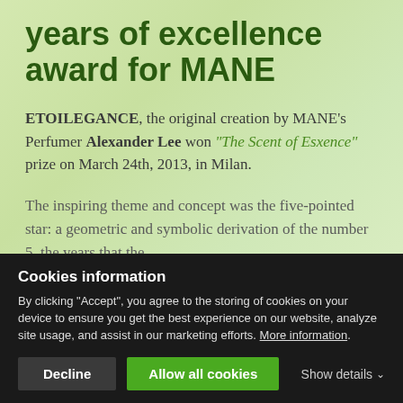years of excellence award for MANE
ETOILEGANCE, the original creation by MANE's Perfumer Alexander Lee won "The Scent of Esxence" prize on March 24th, 2013, in Milan.
The inspiring theme and concept was the five-pointed star: a geometric and symbolic derivation of the number 5, the years that the
Cookies information
By clicking "Accept", you agree to the storing of cookies on your device to ensure you get the best experience on our website, analyze site usage, and assist in our marketing efforts. More information.
Decline
Allow all cookies
Show details